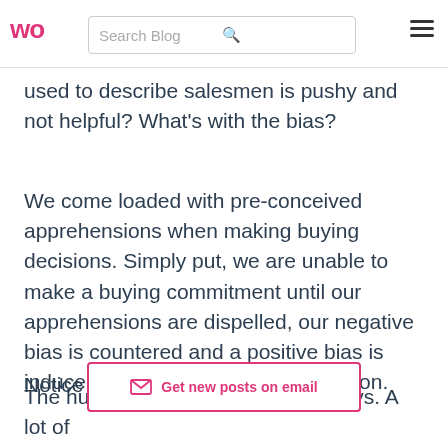WO | Search Blog | [hamburger menu]
used to describe salesmen is pushy and not helpful? What’s with the bias?
We come loaded with pre-conceived apprehensions when making buying decisions. Simply put, we are unable to make a buying commitment until our apprehensions are dispelled, our negative bias is countered and a positive bias is induced in favor of our buying decision.
Notice the choice of word. “Bias.”
[Figure (other): Email subscription button: envelope icon with text 'Get new posts on email', pink border and pink text]
The human mind works in weird ways. A lot of